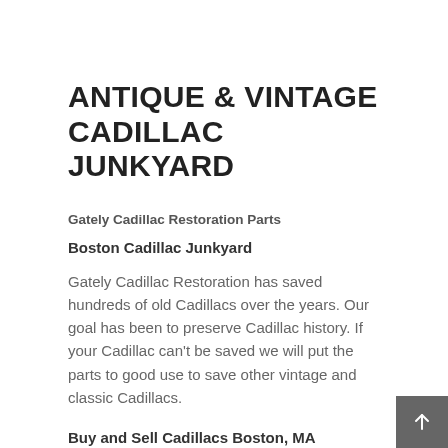ANTIQUE & VINTAGE CADILLAC JUNKYARD
Gately Cadillac Restoration Parts
Boston Cadillac Junkyard
Gately Cadillac Restoration has saved hundreds of old Cadillacs over the years. Our goal has been to preserve Cadillac history. If your Cadillac can't be saved we will put the parts to good use to save other vintage and classic Cadillacs.
Buy and Sell Cadillacs Boston, MA
Looking to sell your old Cadillac quickly, give us a call. We will pay a fair price for